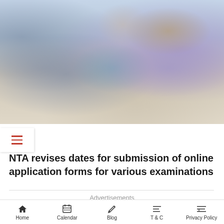[Figure (photo): Students sitting at computers in a classroom; young man in purple shirt in foreground looking at screen, female student with dark hair in background]
NTA revises dates for submission of online application forms for various examinations
Advertisements
[Figure (photo): Advertisement banner strip with cyan bar-chart icon on left, blurred photo in middle, and dark text area on right]
Home | Calendar | Blog | T & C | Privacy Policy